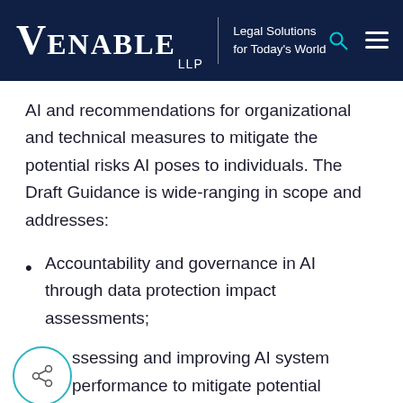VENABLE LLP | Legal Solutions for Today's World
AI and recommendations for organizational and technical measures to mitigate the potential risks AI poses to individuals. The Draft Guidance is wide-ranging in scope and addresses:
Accountability and governance in AI through data protection impact assessments;
Assessing and improving AI system performance to mitigate potential discrimination;